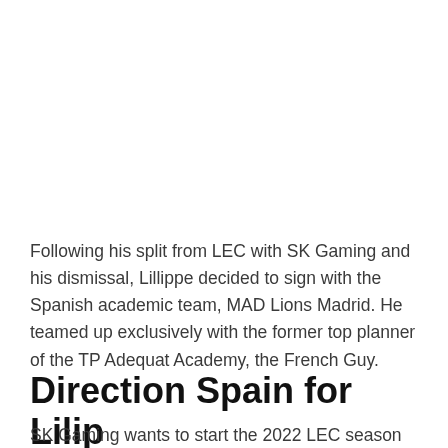Following his split from LEC with SK Gaming and his dismissal, Lillippe decided to sign with the Spanish academic team, MAD Lions Madrid. He teamed up exclusively with the former top planner of the TP Adequat Academy, the French Guy.
Direction Spain for Lilip
SK Gaming wants to start the 2022 LEC season with key